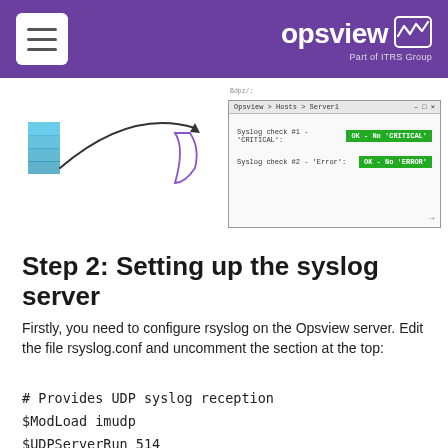opsview — Part of ITRS Group
[Figure (screenshot): Screenshot mockup of Opsview > Hosts > Server1 showing Syslog check #1 - 'CRITICAL': OK - No 'CRITICAL' and Syslog check #2 - 'Error': OK - No 'ERROR' with green buttons. Left side shows a partial diagram with blue stack and curved arrow.]
Step 2: Setting up the syslog server
Firstly, you need to configure rsyslog on the Opsview server. Edit the file rsyslog.conf and uncomment the section at the top:
# Provides UDP syslog reception
$ModLoad imudp
$UDPServerRun 514